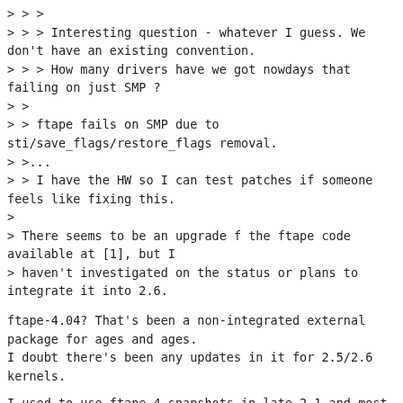> > >
 > > > Interesting question - whatever I guess. We don't have an existing convention.
 > > > How many drivers have we got nowdays that failing on just SMP ?
 > >
 > > ftape fails on SMP due to sti/save_flags/restore_flags removal.
 > >...
 > > I have the HW so I can test patches if someone feels like fixing this.
 >
 > There seems to be an upgrade f the ftape code available at [1], but I
 > haven't investigated on the status or plans to integrate it into 2.6.
ftape-4.04? That's been a non-integrated external package for ages and ages.
I doubt there's been any updates in it for 2.5/2.6 kernels.
I used to use ftape-4 snapshots in late 2.1 and most 2.2 kernels, but patch
maintenance overhead made me go back to the kernel's ftape before 2.4.0.
Given how few still use these antiques (my "fast" Conner/Seagate drive gives
150KBps backup speed, wow!) I think simply maintaining